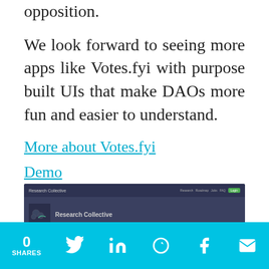opposition.
We look forward to seeing more apps like Votes.fyi with purpose built UIs that make DAOs more fun and easier to understand.
More about Votes.fyi
Demo
Research collective
[Figure (screenshot): Screenshot of Research Collective website showing navigation bar with green Login button and a logo/thumbnail area with the text Research Collective]
0 SHARES [Twitter] [LinkedIn] [Reddit] [Facebook] [Email]